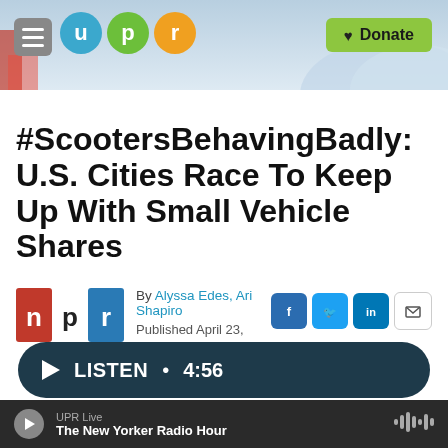[Figure (screenshot): UPR website header with hamburger menu, UPR logo circles (u, p, r), and green Donate button]
#ScootersBehavingBadly: U.S. Cities Race To Keep Up With Small Vehicle Shares
By Alyssa Edes, Ari Shapiro
Published April 23, 2018 at 7:06 PM MDT
[Figure (logo): NPR logo — red and blue rectangle with n p r text]
[Figure (infographic): Social share icons: Facebook, Twitter, LinkedIn, Email]
LISTEN • 4:56
UPR Live
The New Yorker Radio Hour